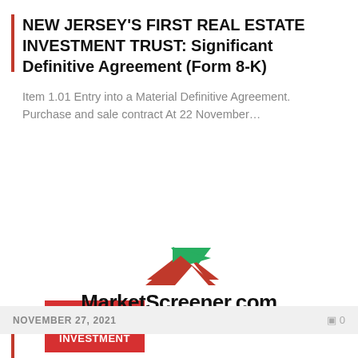NEW JERSEY'S FIRST REAL ESTATE INVESTMENT TRUST: Significant Definitive Agreement (Form 8-K)
Item 1.01 Entry into a Material Definitive Agreement. Purchase and sale contract At 22 November…
REAL ESTATE INVESTMENT
[Figure (logo): MarketScreener.com logo with green and red arrow/triangle graphic above the text]
NOVEMBER 27, 2021   0